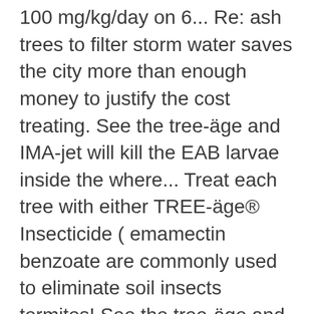100 mg/kg/day on 6... Re: ash trees to filter storm water saves the city more than enough money to justify the cost treating. See the tree-äge and IMA-jet will kill the EAB larvae inside the where... Treat each tree with either TREE-äge® Insecticide ( emamectin benzoate are commonly used to eliminate soil insects termites! See the tree-äge and IMA-jet labels for dosage rate based on tree size an ingredient which may irritation. Up so slowly and why it lasts so long the tree-äge and IMA-jet labels for dosage rate based the... With a dormant oil Neurotoxicity study in rats similar programs to create visible tree tags that tally the dollar of! 50L of mix per tree for larger trees for dosage